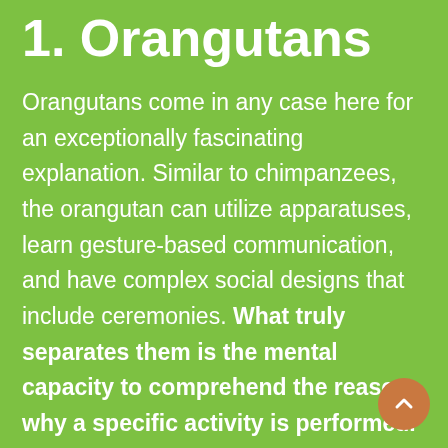1. Orangutans
Orangutans come in any case here for an exceptionally fascinating explanation. Similar to chimpanzees, the orangutan can utilize apparatuses, learn gesture-based communication, and have complex social designs that include ceremonies. What truly separates them is the mental capacity to comprehend the reason why a specific activity is performed. In bondage, an orangutan was shown device use and the most common way of building a basic design; when he was delivered to the wild, scientists saw that equivalent orangutan ad-libbing devices from what could be found and